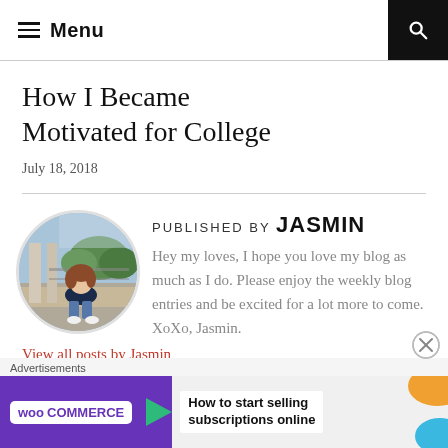Menu
How I Became Motivated for College
July 18, 2018
[Figure (photo): Circular profile photo of Jasmin sitting on stone ledge outdoors with columns and trees in background]
PUBLISHED BY JASMIN
Hey my loves, I hope you love my blog as much as I do. Please enjoy the weekly blog entries and be excited for a lot more to come. XoXo, Jasmin.
View all posts by Jasmin
[Figure (screenshot): WooCommerce advertisement banner: How to start selling subscriptions online]